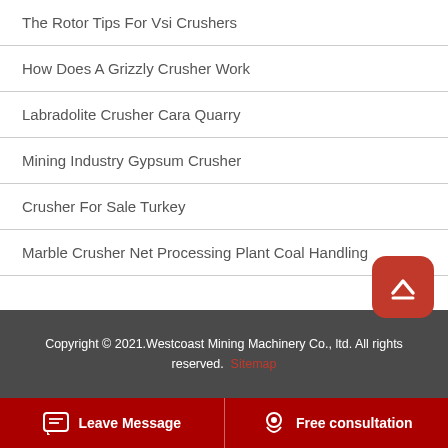The Rotor Tips For Vsi Crushers
How Does A Grizzly Crusher Work
Labradolite Crusher Cara Quarry
Mining Industry Gypsum Crusher
Crusher For Sale Turkey
Marble Crusher Net Processing Plant Coal Handling
Copyright © 2021.Westcoast Mining Machinery Co., ltd. All rights reserved. Sitemap
Leave Message   Free consultation